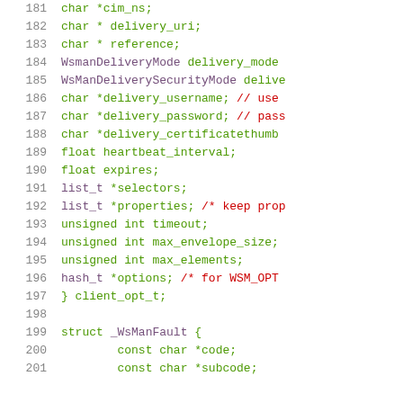181     char *cim_ns;
182     char * delivery_uri;
183     char * reference;
184     WsmanDeliveryMode delivery_mode
185     WsManDeliverySecurityMode delive
186     char *delivery_username; // use
187     char *delivery_password; // pass
188     char *delivery_certificatethumb
189     float heartbeat_interval;
190     float expires;
191     list_t *selectors;
192     list_t *properties; /* keep prop
193     unsigned int timeout;
194     unsigned int max_envelope_size;
195     unsigned int max_elements;
196     hash_t *options; /* for WSM_OPT
197 } client_opt_t;
198
199     struct _WsManFault {
200         const char *code;
201         const char *subcode;